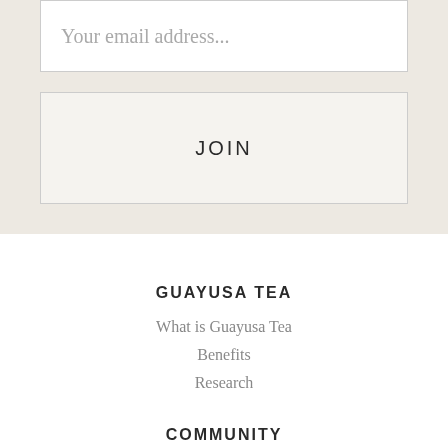Your email address...
JOIN
GUAYUSA TEA
What is Guayusa Tea
Benefits
Research
COMMUNITY